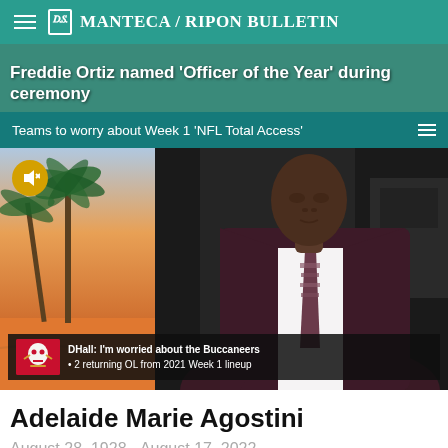Manteca / Ripon Bulletin
Freddie Ortiz named 'Officer of the Year' during ceremony
Teams to worry about Week 1 'NFL Total Access'
[Figure (screenshot): Video screenshot of NFL Total Access showing a male anchor in a dark maroon suit with floral tie at a studio desk. Lower third graphic reads: 'DHall: I'm worried about the Buccaneers · 2 returning OL from 2021 Week 1 lineup'. A mute button icon is visible in the upper left. Background shows palm trees on the left side.]
Adelaide Marie Agostini
August 28, 1928 - August 17, 2022